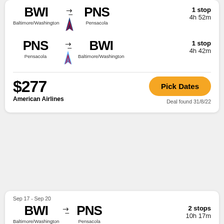BWI → PNS | Baltimore/Washington → Pensacola | 1 stop | 4h 52m
PNS → BWI | Pensacola → Baltimore/Washington | 1 stop | 4h 42m
$277
American Airlines
Pick Dates
Deal found 31/8/22
Sep 17 - Sep 20
BWI → PNS | Baltimore/Washington → Pensacola | 2 stops | 10h 17m
PNS → BWI